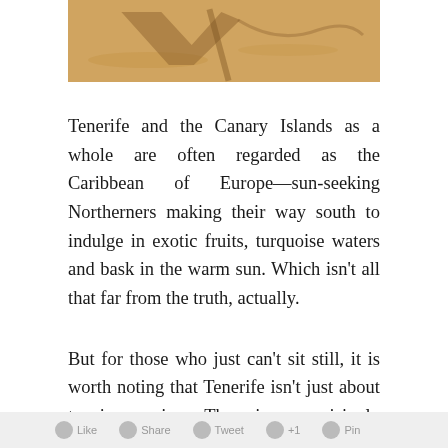[Figure (photo): Top portion of a beach photo showing sand with shadows cast by beach umbrella or chair, warm golden/orange tones]
Tenerife and the Canary Islands as a whole are often regarded as the Caribbean of Europe—sun-seeking Northerners making their way south to indulge in exotic fruits, turquoise waters and bask in the warm sun. Which isn't all that far from the truth, actually.
But for those who just can't sit still, it is worth noting that Tenerife isn't just about tanning sessions. There is a surprisingly large amount of